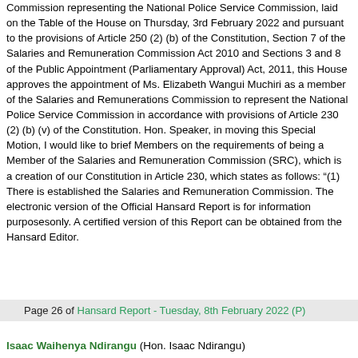Commission representing the National Police Service Commission, laid on the Table of the House on Thursday, 3rd February 2022 and pursuant to the provisions of Article 250 (2) (b) of the Constitution, Section 7 of the Salaries and Remuneration Commission Act 2010 and Sections 3 and 8 of the Public Appointment (Parliamentary Approval) Act, 2011, this House approves the appointment of Ms. Elizabeth Wangui Muchiri as a member of the Salaries and Remunerations Commission to represent the National Police Service Commission in accordance with provisions of Article 230 (2) (b) (v) of the Constitution. Hon. Speaker, in moving this Special Motion, I would like to brief Members on the requirements of being a Member of the Salaries and Remuneration Commission (SRC), which is a creation of our Constitution in Article 230, which states as follows: “(1) There is established the Salaries and Remuneration Commission. The electronic version of the Official Hansard Report is for information purposesonly. A certified version of this Report can be obtained from the Hansard Editor.
Page 26 of Hansard Report - Tuesday, 8th February 2022 (P)
Isaac Waihenya Ndirangu (Hon. Isaac Ndirangu)